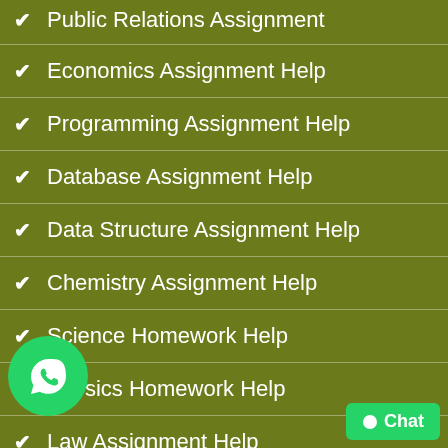Public Relations Assignment
Economics Assignment Help
Programming Assignment Help
Database Assignment Help
Data Structure Assignment Help
Chemistry Assignment Help
Science Homework Help
Physics Homework Help
Law Assignment Help
Biology Homework Help
Computer Science Homework Help
Psychology Homework Help
Tax Assignment Help
Philosophy Homework Help